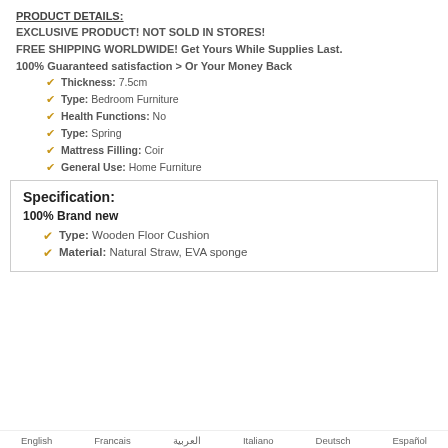PRODUCT DETAILS:
EXCLUSIVE PRODUCT! NOT SOLD IN STORES!
FREE SHIPPING WORLDWIDE! Get Yours While Supplies Last.
100% Guaranteed satisfaction > Or Your Money Back
Thickness: 7.5cm
Type: Bedroom Furniture
Health Functions: No
Type: Spring
Mattress Filling: Coir
General Use: Home Furniture
Specification:
100% Brand new
Type: Wooden Floor Cushion
Material: Natural Straw, EVA sponge
English   Francais   العربية   Italiano   Deutsch   Español